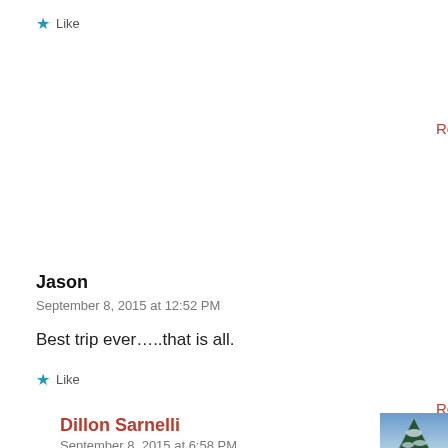★ Like
Reply
Jason
September 8, 2015 at 12:52 PM
Best trip ever…..that is all.
★ Like
Reply
Dillon Sarnelli
September 8, 2015 at 6:58 PM
[Figure (photo): Small avatar thumbnail showing a snow-covered tree in a winter landscape]